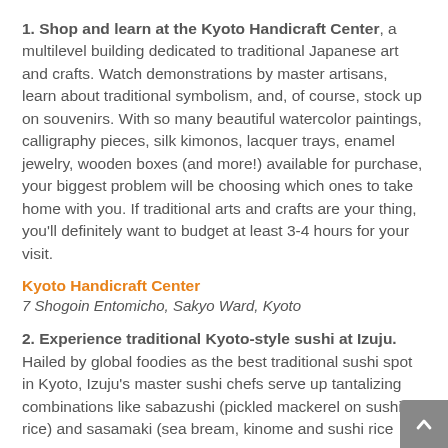1. Shop and learn at the Kyoto Handicraft Center, a multilevel building dedicated to traditional Japanese art and crafts. Watch demonstrations by master artisans, learn about traditional symbolism, and, of course, stock up on souvenirs. With so many beautiful watercolor paintings, calligraphy pieces, silk kimonos, lacquer trays, enamel jewelry, wooden boxes (and more!) available for purchase, your biggest problem will be choosing which ones to take home with you. If traditional arts and crafts are your thing, you'll definitely want to budget at least 3-4 hours for your visit.
Kyoto Handicraft Center
7 Shogoin Entomicho, Sakyo Ward, Kyoto
2. Experience traditional Kyoto-style sushi at Izuju. Hailed by global foodies as the best traditional sushi spot in Kyoto, Izuju's master sushi chefs serve up tantalizing combinations like sabazushi (pickled mackerel on sushi rice) and sasamaki (sea bream, kinome and sushi rice